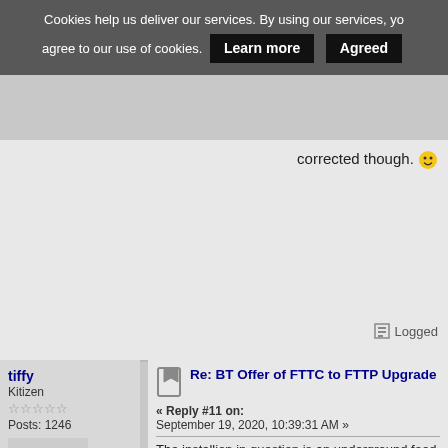Cookies help us deliver our services. By using our services, you agree to our use of cookies. Learn more | Agreed
corrected though. [smiley]
Logged
tiffy
Kitizen
☆☆☆☆☆
Posts: 1246
[Figure (photo): Avatar image showing a red figure standing out among a crowd of grey figures]
Re: BT Offer of FTTC to FTTP Upgrade
« Reply #11 on: September 19, 2020, 10:39:31 AM »
The installion in question is an underground feed which I suspect would be "DIG" cableing as this would seem to be the normal house build contractor practice in this area, the few UG installations I have seen have required digging from the footpath